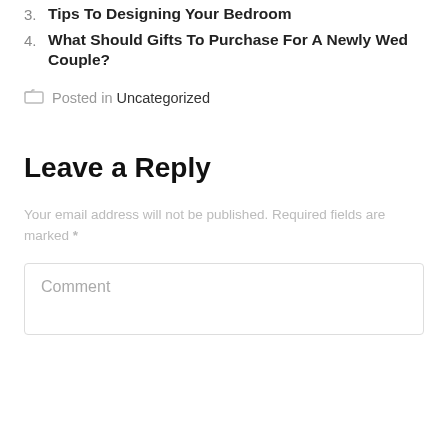3. Tips To Designing Your Bedroom
4. What Should Gifts To Purchase For A Newly Wed Couple?
Posted in Uncategorized
Leave a Reply
Your email address will not be published. Required fields are marked *
Comment